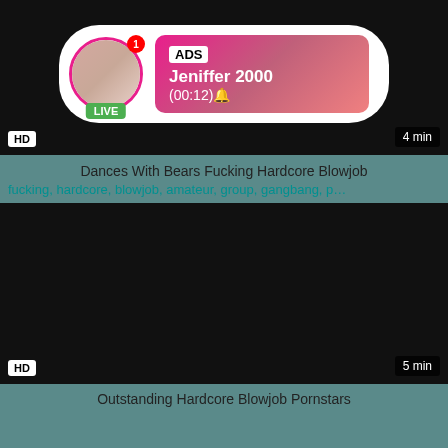[Figure (screenshot): Video thumbnail with black background showing an ad overlay with a live user profile (Jeniffer 2000), HD badge bottom-left, 4 min badge bottom-right]
Dances With Bears Fucking Hardcore Blowjob
fucking, hardcore, blowjob, amateur, group, gangbang, p...
[Figure (screenshot): Black video thumbnail with HD badge bottom-left and 5 min badge bottom-right]
Outstanding Hardcore Blowjob Pornstars